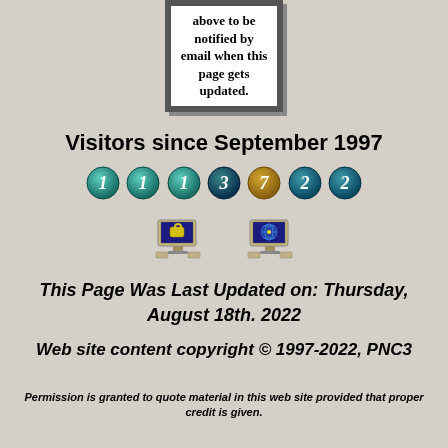[Figure (other): Framed box with text 'above to be notified by email when this page gets updated.']
Visitors since September 1997
[Figure (other): Visitor counter showing 1113722]
[Figure (other): Two computer icons side by side]
This Page Was Last Updated on: Thursday, August 18th. 2022
Web site content copyright © 1997-2022, PNC3
Permission is granted to quote material in this web site provided that proper credit is given.